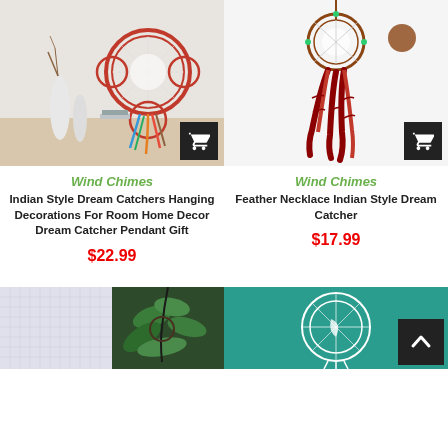[Figure (photo): Indian Style Dream Catcher with colorful feathers on a shelf with white vases]
[Figure (photo): Feather Necklace Indian Style Dream Catcher with red feathers on white background]
Wind Chimes
Indian Style Dream Catchers Hanging Decorations For Room Home Decor Dream Catcher Pendant Gift
$22.99
Wind Chimes
Feather Necklace Indian Style Dream Catcher
$17.99
[Figure (photo): White fabric texture close-up]
[Figure (photo): Dream catcher with green leaves]
[Figure (photo): White dream catcher on teal background]